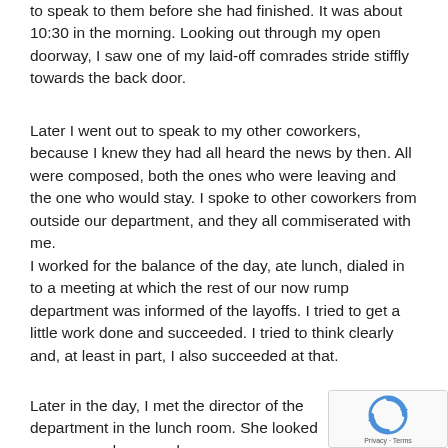to speak to them before she had finished. It was about 10:30 in the morning. Looking out through my open doorway, I saw one of my laid-off comrades stride stiffly towards the back door.
Later I went out to speak to my other coworkers, because I knew they had all heard the news by then. All were composed, both the ones who were leaving and the one who would stay. I spoke to other coworkers from outside our department, and they all commiserated with me.
I worked for the balance of the day, ate lunch, dialed in to a meeting at which the rest of our now rump department was informed of the layoffs. I tried to get a little work done and succeeded. I tried to think clearly and, at least in part, I also succeeded at that.
Later in the day, I met the director of the department in the lunch room. She looked even more drawn and